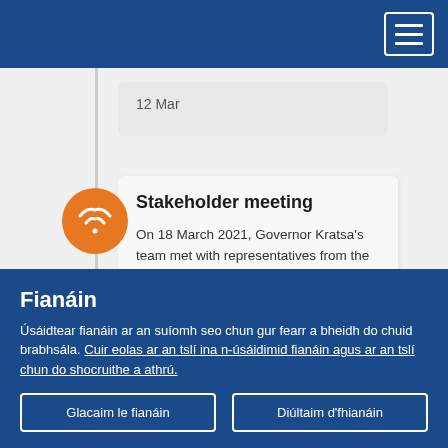12 Mar
Stakeholder meeting
On 18 March 2021, Governor Kratsa's team met with representatives from the City of Prague and the City Alliance to discuss concrete implications of the Digital Services
Fianáin
Úsáidtear fianáin ar an suíomh seo chun gur fearr a bheidh do chuid brabhsála. Cuir eolas ar an tslí ina n-úsáidimid fianáin agus ar an tslí chun do shocruithe a athrú.
Glacaim le fianáin
Diúltaim d'fhianáin